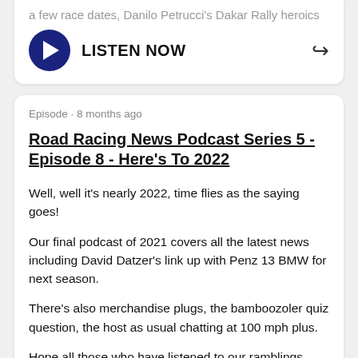a few race dates, Danilo Petrucci's Dakar Rally heroics
[Figure (other): Play button and LISTEN NOW label with share arrow icon]
Episode · 8 months ago
Road Racing News Podcast Series 5 - Episode 8 - Here's To 2022
Well, well it's nearly 2022, time flies as the saying goes!
Our final podcast of 2021 covers all the latest news including David Datzer's link up with Penz 13 BMW for next season.
There's also merchandise plugs, the bamboozoler quiz question, the host as usual chatting at 100 mph plus.
Hope all those who have listened to our ramblings during the past year, have enjoyed what they've